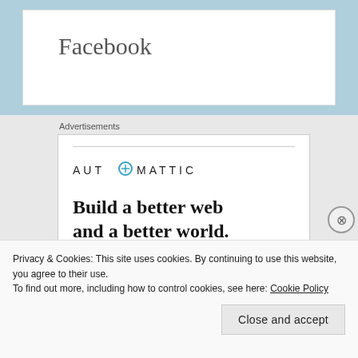Facebook
Advertisements
[Figure (logo): Automattic logo with circular icon and brand name in spaced caps: AUT⊙MATTIC]
Build a better web and a better world.
Privacy & Cookies: This site uses cookies. By continuing to use this website, you agree to their use.
To find out more, including how to control cookies, see here: Cookie Policy
Close and accept